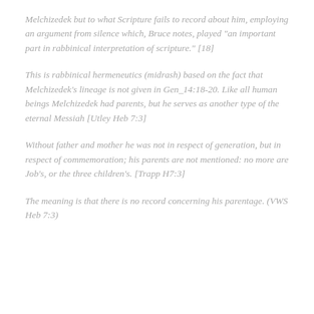Melchizedek but to what Scripture fails to record about him, employing an argument from silence which, Bruce notes, played "an important part in rabbinical interpretation of scripture." [18]
This is rabbinical hermeneutics (midrash) based on the fact that Melchizedek's lineage is not given in Gen_14:18-20. Like all human beings Melchizedek had parents, but he serves as another type of the eternal Messiah [Utley Heb 7:3]
Without father and mother he was not in respect of generation, but in respect of commemoration; his parents are not mentioned: no more are Job's, or the three children's. [Trapp H7:3]
The meaning is that there is no record concerning his parentage. (VWS Heb 7:3)